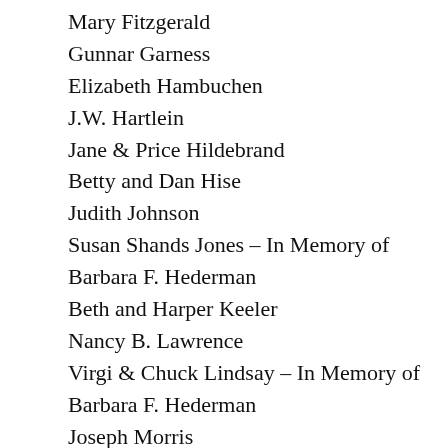Mary Fitzgerald
Gunnar Garness
Elizabeth Hambuchen
J.W. Hartlein
Jane & Price Hildebrand
Betty and Dan Hise
Judith Johnson
Susan Shands Jones – In Memory of Barbara F. Hederman
Beth and Harper Keeler
Nancy B. Lawrence
Virgi & Chuck Lindsay – In Memory of Barbara F. Hederman
Joseph Morris
Ginnie & Luther Munford – In Memory of Barbara F. Hederman
Nancy and Leo Stevens